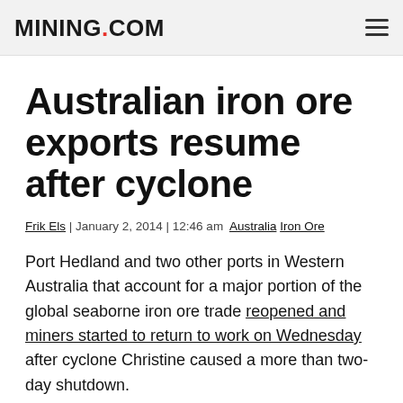MINING.COM
Australian iron ore exports resume after cyclone
Frik Els | January 2, 2014 | 12:46 am   Australia  Iron Ore
Port Hedland and two other ports in Western Australia that account for a major portion of the global seaborne iron ore trade reopened and miners started to return to work on Wednesday after cyclone Christine caused a more than two-day shutdown.